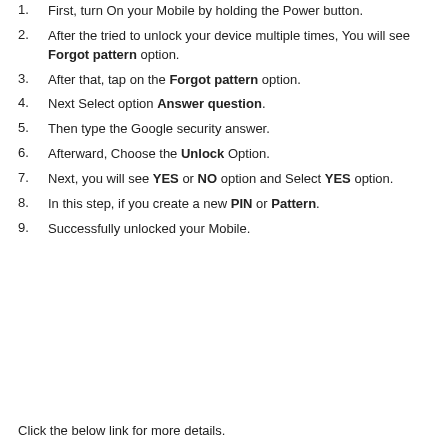1. First, turn On your Mobile by holding the Power button.
2. After the tried to unlock your device multiple times, You will see Forgot pattern option.
3. After that, tap on the Forgot pattern option.
4. Next Select option Answer question.
5. Then type the Google security answer.
6. Afterward, Choose the Unlock Option.
7. Next, you will see YES or NO option and Select YES option.
8. In this step, if you create a new PIN or Pattern.
9. Successfully unlocked your Mobile.
Click the below link for more details.